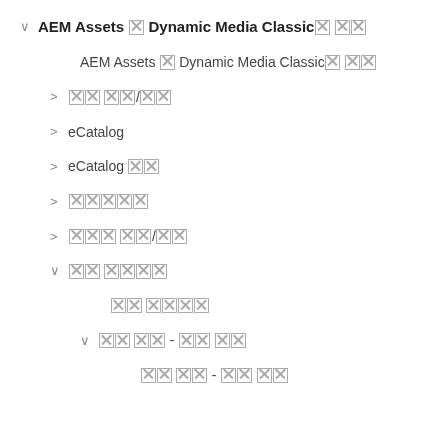AEM Assets と Dynamic Media Classic の統合
AEM Assets と Dynamic Media Classic の統合
画像 プリセット/ビューア
eCatalog
eCatalog 検索
スピンセット
混在 メディア/セット
対話 型番号
対話 型番号
対話 型番 - 対話 型番
対話 型番 - 対話 型番